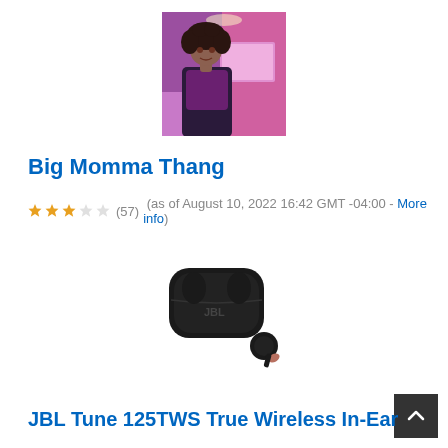[Figure (photo): A woman with curly hair sitting in front of a laptop in a purple/pink lit room]
Big Momma Thang
★★★☆☆ (57)  (as of August 10, 2022 16:42 GMT -04:00 - More info)
[Figure (photo): JBL Tune 125TWS true wireless earbuds in black charging case with one earbud out]
JBL Tune 125TWS True Wireless In-Ear